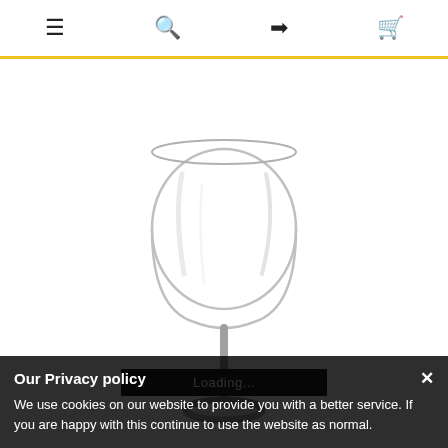Navigation bar with menu, search, login, and cart icons
[Figure (photo): A clear crystal wine glass on a white background]
Loading...
Our Privacy policy
We use cookies on our website to provide you with a better service. If you are happy with this continue to use the website as normal.